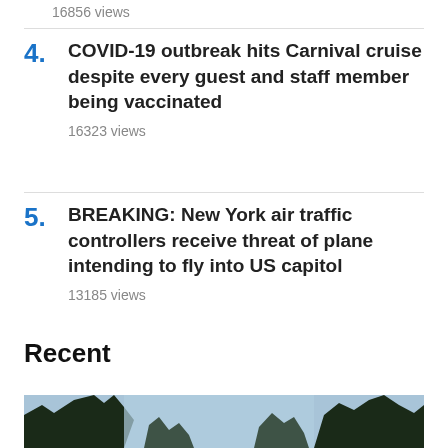16856 views
4. COVID-19 outbreak hits Carnival cruise despite every guest and staff member being vaccinated
16323 views
5. BREAKING: New York air traffic controllers receive threat of plane intending to fly into US capitol
13185 views
Recent
[Figure (photo): Outdoor photo showing dark tree silhouettes against a blue sky, cropped at the bottom of the page]